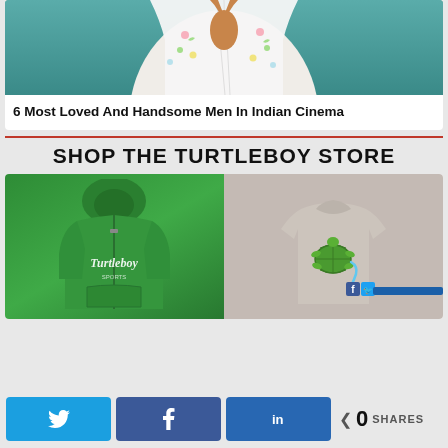[Figure (photo): Person wearing a white floral open shirt, cropped to show torso/lower neck area with teal background]
6 Most Loved And Handsome Men In Indian Cinema
SHOP THE TURTLEBOY STORE
[Figure (photo): Green Turtleboy zip-up hoodie and a grey t-shirt with cartoon turtle design urinating on Facebook and Twitter logos]
0 SHARES